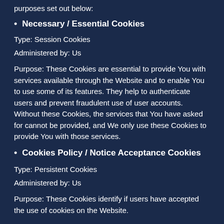purposes set out below:
Necessary / Essential Cookies
Type: Session Cookies
Administered by: Us
Purpose: These Cookies are essential to provide You with services available through the Website and to enable You to use some of its features. They help to authenticate users and prevent fraudulent use of user accounts. Without these Cookies, the services that You have asked for cannot be provided, and We only use these Cookies to provide You with those services.
Cookies Policy / Notice Acceptance Cookies
Type: Persistent Cookies
Administered by: Us
Purpose: These Cookies identify if users have accepted the use of cookies on the Website.